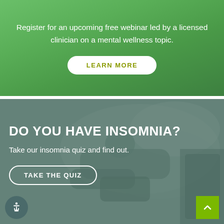Register for an upcoming free webinar led by a licensed clinician on a mental wellness topic.
LEARN MORE
[Figure (photo): Person lying on a bed viewed from above, with teal/green overlay]
DO YOU HAVE INSOMNIA?
Take our insomnia quiz and find out.
TAKE THE QUIZ